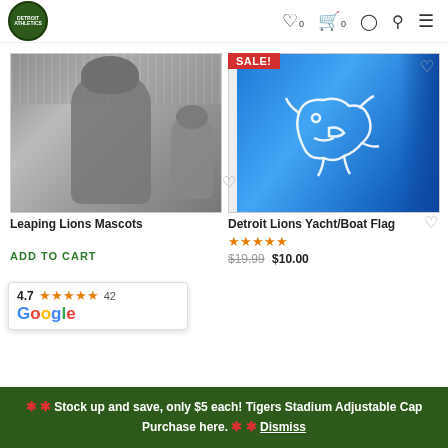Detroit Athletics logo, wishlist 0, cart 0, account, search, menu navigation icons
[Figure (photo): Black and white photo of two Detroit Lions mascots (a large lion costume and a small child in lion costume) at a stadium]
[Figure (photo): Detroit Lions Yacht/Boat Flag — blue flag with white Detroit Lions logo outline]
SALE!
Leaping Lions Mascots
Detroit Lions Yacht/Boat Flag
4.7  ★★★★★  42
Google
$33
★★★★★
$19.99  $10.00
ADD TO CART
❋ ❋ Stock up and save, only $5 each! Tigers Stadium Adjustable Cap Purchase here. ❋ ❋ Dismiss